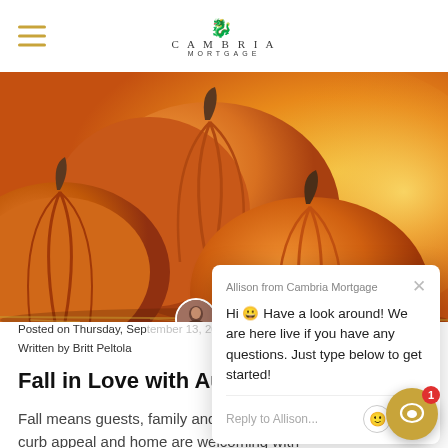Cambria Mortgage
[Figure (photo): Close-up photo of orange pumpkins with bokeh autumn background]
Posted on Thursday, September 13, 2018
Written by Britt Peltola
Fall in Love with Autumn Décor
Fall means guests, family and get-togethers. Make sure your curb appeal and home are welcoming with
[Figure (screenshot): Live chat popup from Allison at Cambria Mortgage saying: Hi 😀 Have a look around! We are here live if you have any questions. Just type below to get started! With Reply to Allison input field.]